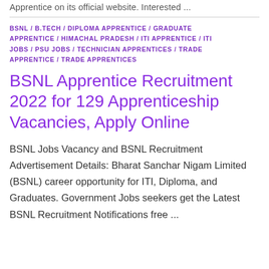Apprentice on its official website. Interested ...
BSNL / B.TECH / DIPLOMA APPRENTICE / GRADUATE APPRENTICE / HIMACHAL PRADESH / ITI APPRENTICE / ITI JOBS / PSU JOBS / TECHNICIAN APPRENTICES / TRADE APPRENTICE / TRADE APPRENTICES
BSNL Apprentice Recruitment 2022 for 129 Apprenticeship Vacancies, Apply Online
BSNL Jobs Vacancy and BSNL Recruitment Advertisement Details: Bharat Sanchar Nigam Limited (BSNL) career opportunity for ITI, Diploma, and Graduates. Government Jobs seekers get the Latest BSNL Recruitment Notifications free ...